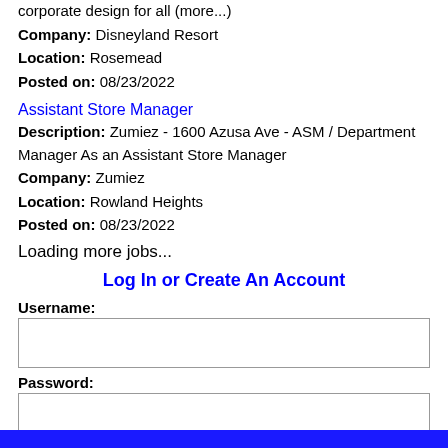corporate design for all (more...)
Company: Disneyland Resort
Location: Rosemead
Posted on: 08/23/2022
Assistant Store Manager
Description: Zumiez - 1600 Azusa Ave - ASM / Department Manager As an Assistant Store Manager
Company: Zumiez
Location: Rowland Heights
Posted on: 08/23/2022
Loading more jobs...
Log In or Create An Account
Username:
Password: